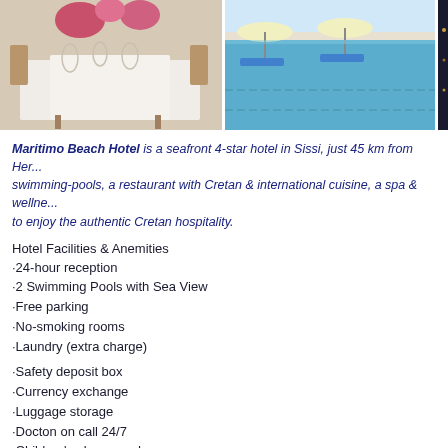[Figure (photo): Three hotel photos side by side: dining table setup, swimming pool with sea view, and a night scene]
Maritimo Beach Hotel is a seafront 4-star hotel in Sissi, just 45 km from Her... swimming-pools, a restaurant with Cretan & international cuisine, a spa & wellne... to enjoy the authentic Cretan hospitality.
Hotel Facilities & Anemities
·24-hour reception
·2 Swimming Pools with Sea View
·Free parking
·No-smoking rooms
·Laundry (extra charge)
·Safety deposit box
·Currency exchange
·Luggage storage
·Docton on call 24/7
·Children's playground
·Free sunbeds & umbrellas
·Business center 24/7
·Concierge & travel services
·Spa/Wellness center (extra charge)
·Free Wi-Fi